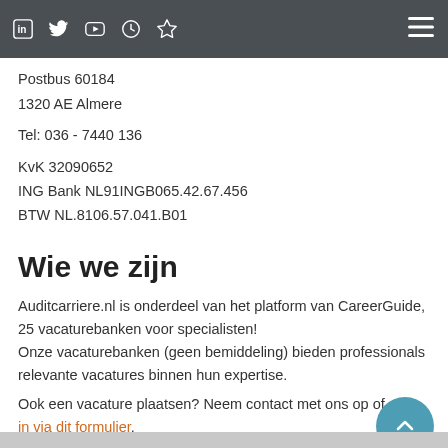Navigation bar with social icons (LinkedIn, Twitter, YouTube, Clock, Star) and hamburger menu
Postbus 60184
1320 AE Almere
Tel: 036 - 7440 136
KvK 32090652
ING Bank NL91INGB065.42.67.456
BTW NL.8106.57.041.B01
Wie we zijn
Auditcarriere.nl is onderdeel van het platform van CareerGuide, 25 vacaturebanken voor specialisten!
Onze vacaturebanken (geen bemiddeling) bieden professionals relevante vacatures binnen hun expertise.
Ook een vacature plaatsen? Neem contact met ons op of stuur ons in via dit formulier.